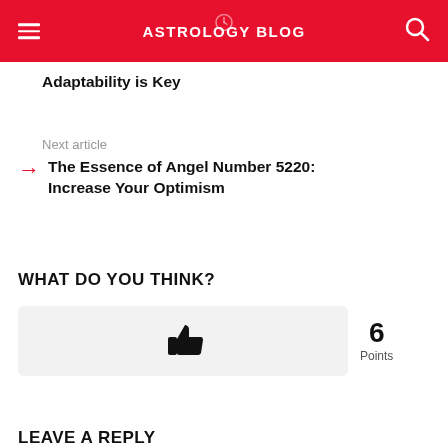ASTROLOGY BLOG
Adaptability is Key
Next article
The Essence of Angel Number 5220: Increase Your Optimism
WHAT DO YOU THINK?
[Figure (other): Thumbs up icon with 6 Points vote counter]
LEAVE A REPLY